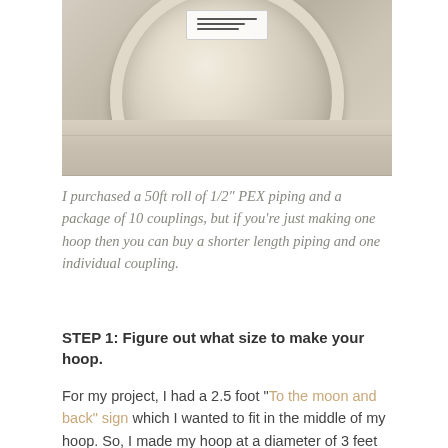[Figure (photo): A coiled roll of white 1/2 inch PEX piping sitting on a light wood table, viewed from above, with a white label/tag visible on the top of the coil.]
I purchased a 50ft roll of 1/2" PEX piping and a package of 10 couplings, but if you're just making one hoop then you can buy a shorter length piping and one individual coupling.
STEP 1: Figure out what size to make your hoop.
For my project, I had a 2.5 foot "To the moon and back" sign which I wanted to fit in the middle of my hoop. So, I made my hoop at a diameter of 3 feet to allow for some breathing room around the sign. I